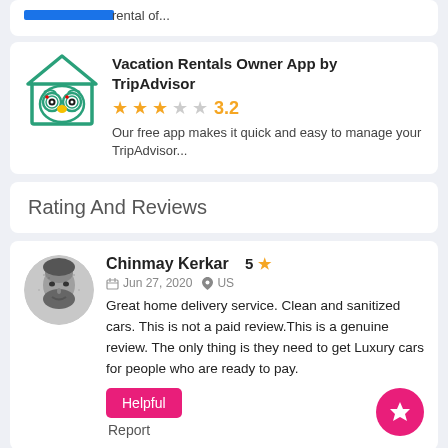[Figure (screenshot): Partial app listing card showing blue bar and 'rental of...' text]
Vacation Rentals Owner App by TripAdvisor
3.2
Our free app makes it quick and easy to manage your TripAdvisor...
Rating And Reviews
[Figure (photo): Circular avatar photo of Chinmay Kerkar, a man with beard in black and white halftone style]
Chinmay Kerkar  5
Jun 27, 2020  US
Great home delivery service. Clean and sanitized cars. This is not a paid review.This is a genuine review. The only thing is they need to get Luxury cars for people who are ready to pay.
Helpful
Report